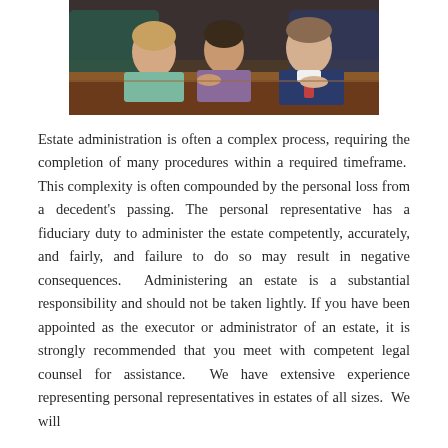[Figure (photo): Photo of three people seated at a conference table in a professional legal office setting. Two women and one man in a suit with a tie are visible, suggesting a legal consultation.]
Estate administration is often a complex process, requiring the completion of many procedures within a required timeframe. This complexity is often compounded by the personal loss from a decedent's passing. The personal representative has a fiduciary duty to administer the estate competently, accurately, and fairly, and failure to do so may result in negative consequences. Administering an estate is a substantial responsibility and should not be taken lightly. If you have been appointed as the executor or administrator of an estate, it is strongly recommended that you meet with competent legal counsel for assistance. We have extensive experience representing personal representatives in estates of all sizes. We will